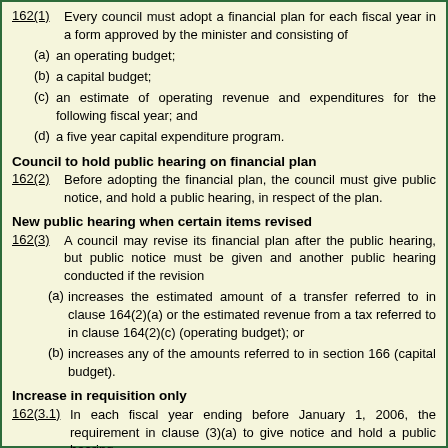162(1)      Every council must adopt a financial plan for each fiscal year in a form approved by the minister and consisting of
(a) an operating budget;
(b) a capital budget;
(c) an estimate of operating revenue and expenditures for the following fiscal year; and
(d) a five year capital expenditure program.
Council to hold public hearing on financial plan
162(2)      Before adopting the financial plan, the council must give public notice, and hold a public hearing, in respect of the plan.
New public hearing when certain items revised
162(3)      A council may revise its financial plan after the public hearing, but public notice must be given and another public hearing conducted if the revision
(a) increases the estimated amount of a transfer referred to in clause 164(2)(a) or the estimated revenue from a tax referred to in clause 164(2)(c) (operating budget); or
(b) increases any of the amounts referred to in section 166 (capital budget).
Increase in requisition only
162(3.1)    In each fiscal year ending before January 1, 2006, the requirement in clause (3)(a) to give notice and hold a public hearing